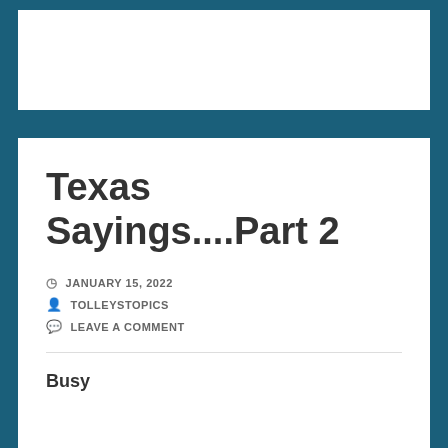Texas Sayings....Part 2
JANUARY 15, 2022
TOLLEYSTOPICS
LEAVE A COMMENT
Busy